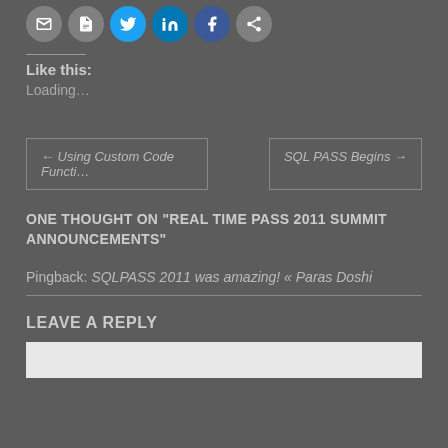[Figure (illustration): Row of social sharing icon circles: email, print, Twitter (blue), LinkedIn (blue), Facebook (blue), and another circle icon]
Like this:
Loading...
← Using Custom Code Functi…
SQL PASS Begins →
ONE THOUGHT ON "REAL TIME PASS 2011 SUMMIT ANNOUNCEMENTS"
Pingback: SQLPASS 2011 was amazing! « Paras Doshi
LEAVE A REPLY